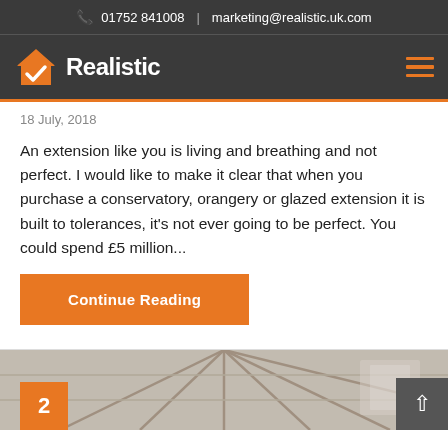01752 841008  |  marketing@realistic.uk.com
[Figure (logo): Realistic company logo: orange house icon with white checkmark and white bold text 'Realistic']
18 July, 2018
An extension like you is living and breathing and not perfect. I would like to make it clear that when you purchase a conservatory, orangery or glazed extension it is built to tolerances, it's not ever going to be perfect. You could spend £5 million...
Continue Reading
[Figure (photo): Partial view of a conservatory interior with glass ceiling structure, and an orange numbered box with '2' visible at bottom left]